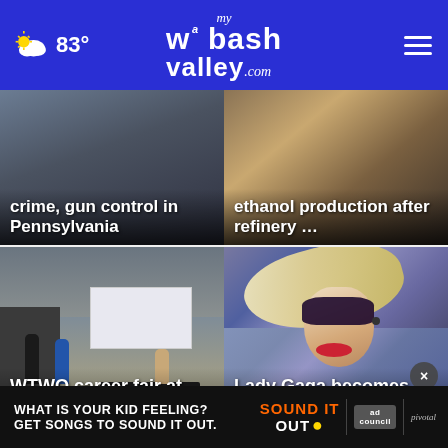myWabashValley.com — 83°
[Figure (screenshot): News card: crime, gun control in Pennsylvania — dark background with partial headline visible]
[Figure (screenshot): News card: ethanol production after refinery ... — amber/brown background with partial headline]
[Figure (photo): WTWO career fair at the Terre Haute Convention Center — indoor convention hall scene with people at booths]
[Figure (photo): Lady Gaga becomes highest-grossing show in [Vegas...] — Lady Gaga with blonde hair and glam makeup]
[Figure (infographic): Ad banner: WHAT IS YOUR KID FEELING? GET SONGS TO SOUND IT OUT. — Sound It Out, Ad Council, Pivotal logos]